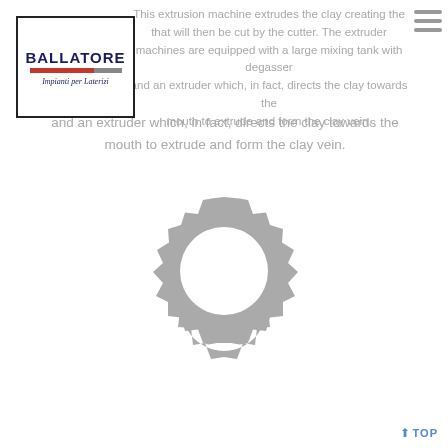[Figure (logo): Ballatore Impianti per Laterizi company logo with dark blue text, orange/red underline bar, and rectangular border]
This extrusion machine extrudes the clay creating the that will then be cut by the cutter. The extruder machines are equipped with a large mixing tank with degasser and an extruder which, in fact, directs the clay towards the mouth to extrude and form the clay vein.
[Figure (illustration): Large grey gear/cog icon on white background]
↑ TOP